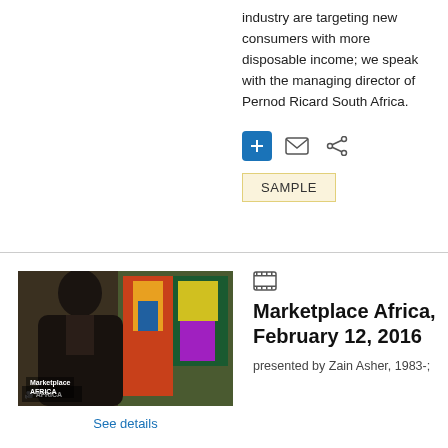industry are targeting new consumers with more disposable income; we speak with the managing director of Pernod Ricard South Africa.
[Figure (other): Row of action icons: blue plus button, envelope icon, share icon]
SAMPLE
[Figure (photo): Video thumbnail showing a man in a dark suit seated in front of colorful artwork, with Marketplace Africa logo overlay in the bottom left corner]
See details
[Figure (other): Film/video icon]
Marketplace Africa, February 12, 2016
presented by Zain Asher, 1983-;